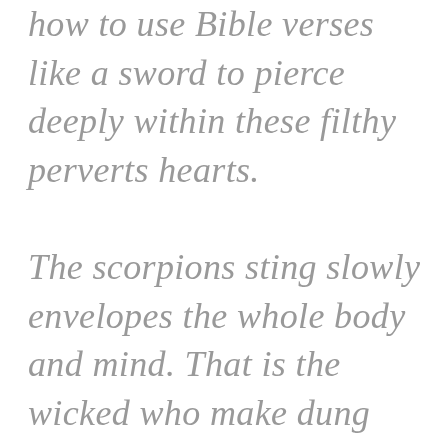how to use Bible verses like a sword to pierce deeply within these filthy perverts hearts.

The scorpions sting slowly envelopes the whole body and mind. That is the wicked who make dung